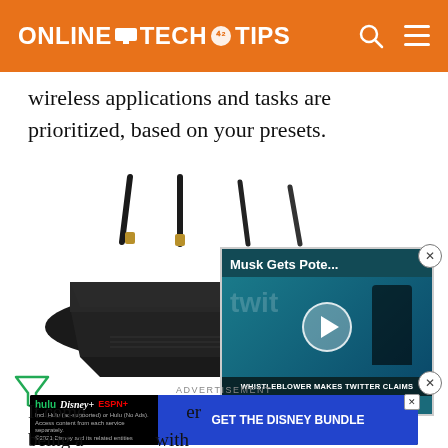Online Tech Tips
wireless applications and tasks are prioritized, based on your presets.
[Figure (photo): ASUS router with multiple antennas on a white background, overlaid with a video player showing 'Musk Gets Pote...' with Twitter logo background and caption 'WHISTLEBLOWER MAKES TWITTER CLAIMS']
ADVERTISEMENT
[Figure (other): Disney Bundle advertisement banner showing Hulu, Disney+, ESPN+ logos and 'GET THE DISNEY BUNDLE' call to action button with fine print about subscription options. ©2021 Disney and its related entities.]
It come being a